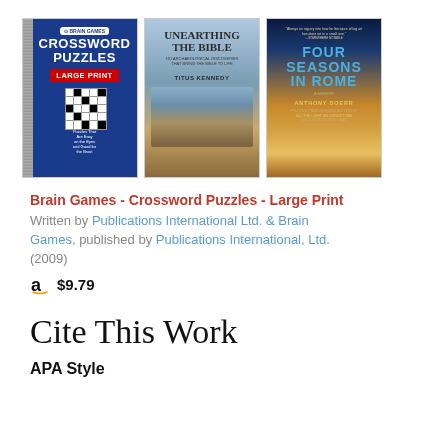[Figure (illustration): Three book covers displayed side by side: 'Brain Games Crossword Puzzles Large Print', 'Unearthing the Bible by Titus Kennedy', and 'Four Seasons in Rome by Anthony Doerr']
Brain Games - Crossword Puzzles - Large Print
Written by Publications International Ltd. & Brain Games, published by Publications International, Ltd. (2009)
a $9.79
Cite This Work
APA Style